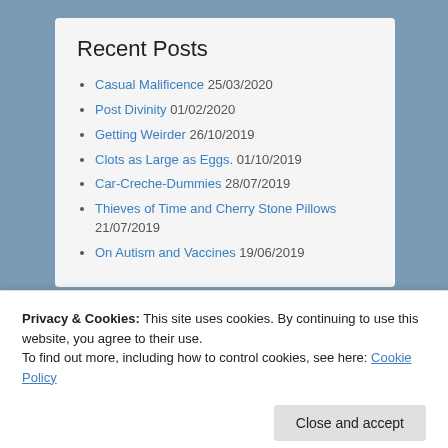Recent Posts
Casual Malificence 25/03/2020
Post Divinity 01/02/2020
Getting Weirder 26/10/2019
Clots as Large as Eggs. 01/10/2019
Car-Creche-Dummies 28/07/2019
Thieves of Time and Cherry Stone Pillows 21/07/2019
On Autism and Vaccines 19/06/2019
Privacy & Cookies: This site uses cookies. By continuing to use this website, you agree to their use.
To find out more, including how to control cookies, see here: Cookie Policy
04/03/2019